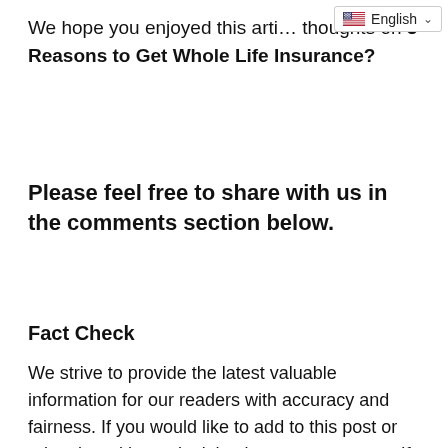[Figure (other): Language selector widget showing US flag and 'English' label with dropdown chevron]
We hope you enjoyed this arti… thoughts on 3 Reasons to Get Whole Life Insurance?
Please feel free to share with us in the comments section below.
Fact Check
We strive to provide the latest valuable information for our readers with accuracy and fairness. If you would like to add to this post or advertise with us, don't hesitate to contact us.  If you see something that